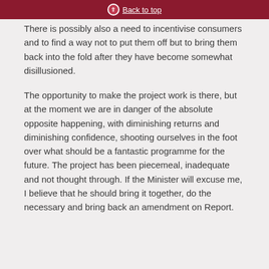Back to top
There is possibly also a need to incentivise consumers and to find a way not to put them off but to bring them back into the fold after they have become somewhat disillusioned.
The opportunity to make the project work is there, but at the moment we are in danger of the absolute opposite happening, with diminishing returns and diminishing confidence, shooting ourselves in the foot over what should be a fantastic programme for the future. The project has been piecemeal, inadequate and not thought through. If the Minister will excuse me, I believe that he should bring it together, do the necessary and bring back an amendment on Report.